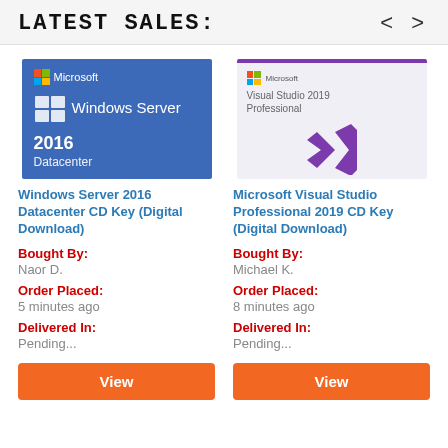LATEST SALES:
[Figure (illustration): Microsoft Windows Server 2016 Datacenter product box image with blue background, Microsoft logo, Windows icon, and text '2016 Datacenter']
Windows Server 2016 Datacenter CD Key (Digital Download)
Bought By: Naor D.
Order Placed: 5 minutes ago
Delivered In: Pending...
View
[Figure (illustration): Microsoft Visual Studio 2019 Professional product box image with light gray background, purple top bar, Microsoft logo, and Visual Studio 2019 purple icon]
Microsoft Visual Studio Professional 2019 CD Key (Digital Download)
Bought By: Michael K.
Order Placed: 8 minutes ago
Delivered In: Pending...
View